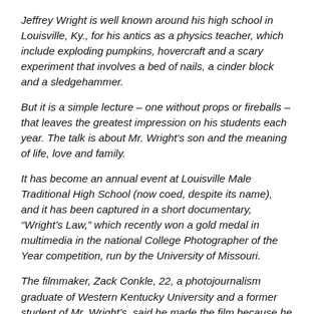Jeffrey Wright is well known around his high school in Louisville, Ky., for his antics as a physics teacher, which include exploding pumpkins, hovercraft and a scary experiment that involves a bed of nails, a cinder block and a sledgehammer.
But it is a simple lecture – one without props or fireballs – that leaves the greatest impression on his students each year. The talk is about Mr. Wright's son and the meaning of life, love and family.
It has become an annual event at Louisville Male Traditional High School (now coed, despite its name), and it has been captured in a short documentary, “Wright’s Law,” which recently won a gold medal in multimedia in the national College Photographer of the Year competition, run by the University of Missouri.
The filmmaker, Zack Conkle, 22, a photojournalism graduate of Western Kentucky University and a former student of Mr. Wright’s, said he made the film because he would get frustrated trying to describe Mr. Wright’s teaching style. “I wanted to show people this guy is